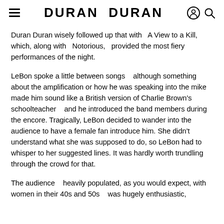DURAN DURAN
Duran Duran wisely followed up that with  A View to a Kill, which, along with  Notorious,  provided the most fiery performances of the night.
LeBon spoke a little between songs   although something about the amplification or how he was speaking into the mike made him sound like a British version of Charlie Brown's schoolteacher   and he introduced the band members during the encore. Tragically, LeBon decided to wander into the audience to have a female fan introduce him. She didn't understand what she was supposed to do, so LeBon had to whisper to her suggested lines. It was hardly worth trundling through the crowd for that.
The audience   heavily populated, as you would expect, with women in their 40s and 50s   was hugely enthusiastic,